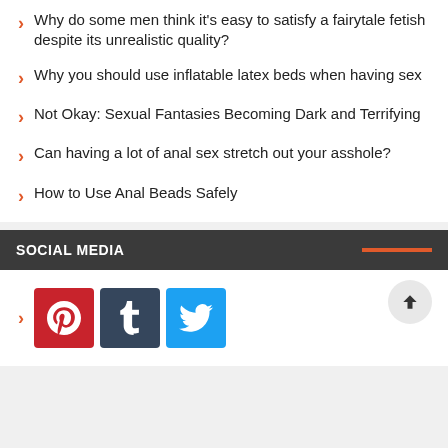Why do some men think it's easy to satisfy a fairytale fetish despite its unrealistic quality?
Why you should use inflatable latex beds when having sex
Not Okay: Sexual Fantasies Becoming Dark and Terrifying
Can having a lot of anal sex stretch out your asshole?
How to Use Anal Beads Safely
SOCIAL MEDIA
[Figure (logo): Pinterest, Tumblr, and Twitter social media icon buttons]